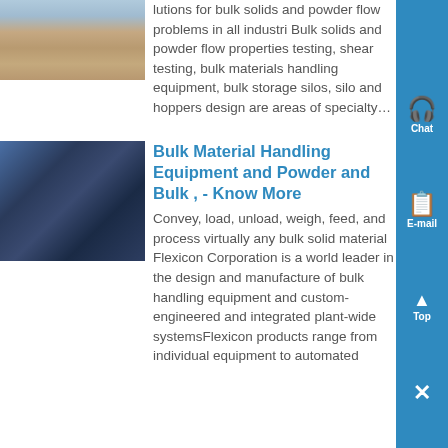[Figure (photo): Outdoor industrial facility with bulk solids equipment and silos, reddish earth ground]
lutions for bulk solids and powder flow problems in all industri Bulk solids and powder flow properties testing, shear testing, bulk materials handling equipment, bulk storage silos, silo and hoppers design are areas of specialty...
[Figure (photo): Industrial electrical panel or control box with wiring/cables]
Bulk Material Handling Equipment and Powder and Bulk , - Know More
Convey, load, unload, weigh, feed, and process virtually any bulk solid material Flexicon Corporation is a world leader in the design and manufacture of bulk handling equipment and custom-engineered and integrated plant-wide systemsFlexicon products range from individual equipment to automated